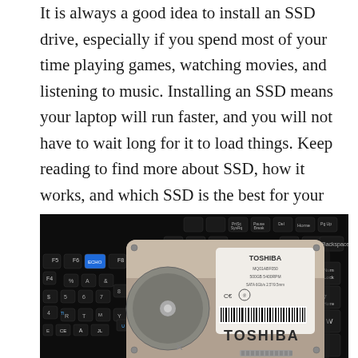It is always a good idea to install an SSD drive, especially if you spend most of your time playing games, watching movies, and listening to music. Installing an SSD means your laptop will run faster, and you will not have to wait long for it to load things. Keep reading to find more about SSD, how it works, and which SSD is the best for your laptop.
[Figure (photo): A Toshiba hard disk drive placed on top of a black laptop keyboard, photographed from above. The keyboard keys are illuminated and the drive's label is visible showing the Toshiba brand.]